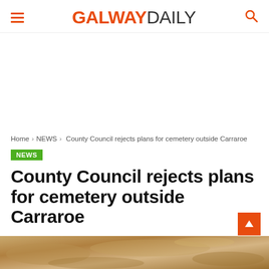GALWAY DAILY
Home › NEWS › County Council rejects plans for cemetery outside Carraroe
NEWS
County Council rejects plans for cemetery outside Carraroe
By Briain Kelly - December 13, 2020
[Figure (photo): Stone or gravel texture background image at the bottom of the page]